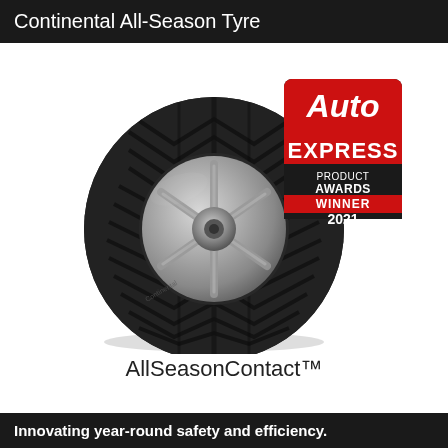Continental All-Season Tyre
[Figure (photo): Continental AllSeasonContact tyre with silver alloy rim, displayed at an angle. An Auto Express Product Awards Winner 2021 badge is overlaid in the upper right.]
AllSeasonContact™
Innovating year-round safety and efficiency.